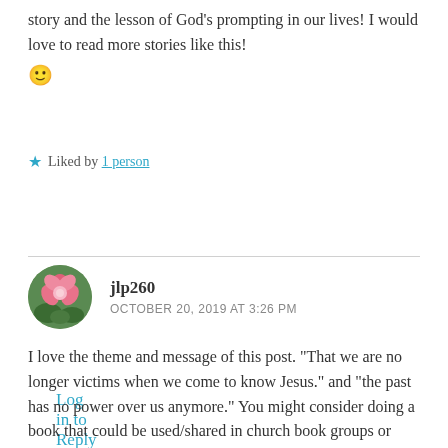story and the lesson of God's prompting in our lives! I would love to read more stories like this! 🙂
★ Liked by 1 person
Log in to Reply
jlp260
OCTOBER 20, 2019 AT 3:26 PM
I love the theme and message of this post. "That we are no longer victims when we come to know Jesus." and "the past has no power over us anymore." You might consider doing a book that could be used/shared in church book groups or